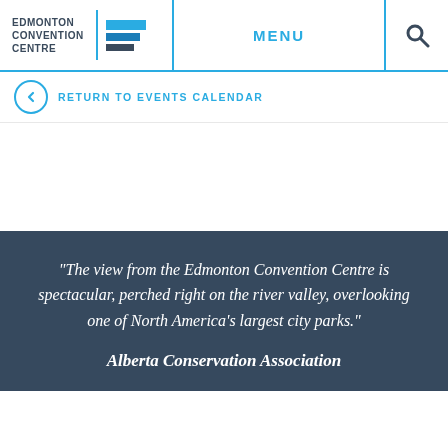EDMONTON CONVENTION CENTRE | MENU | Search
RETURN TO EVENTS CALENDAR
"The view from the Edmonton Convention Centre is spectacular, perched right on the river valley, overlooking one of North America's largest city parks."
Alberta Conservation Association